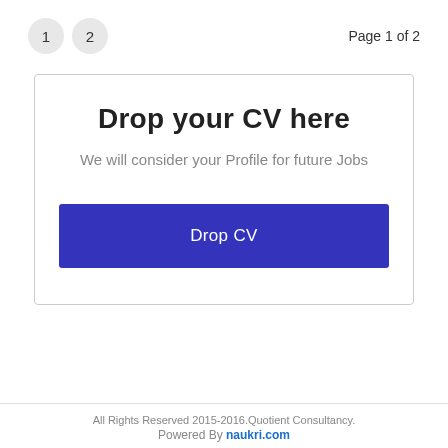1  2  Page 1 of 2
Drop your CV here
We will consider your Profile for future Jobs
Drop CV
All Rights Reserved 2015-2016.Quotient Consultancy. Powered By naukri.com